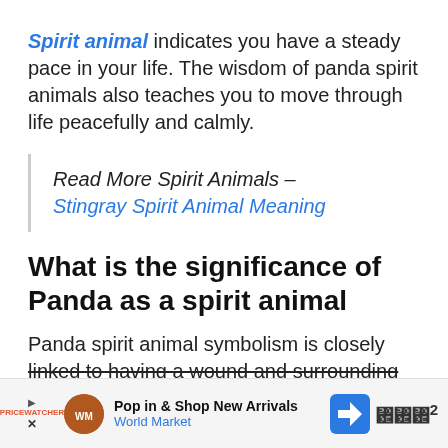Spirit animal indicates you have a steady pace in your life. The wisdom of panda spirit animals also teaches you to move through life peacefully and calmly.
Read More Spirit Animals – Stingray Spirit Animal Meaning
What is the significance of Panda as a spirit animal
Panda spirit animal symbolism is closely linked to having a wound and surrounding y...
[Figure (other): Advertisement banner at the bottom: Pop in & Shop New Arrivals - World Market, with play/close icons, brand logo, navigation icon, and Waze-style icon.]